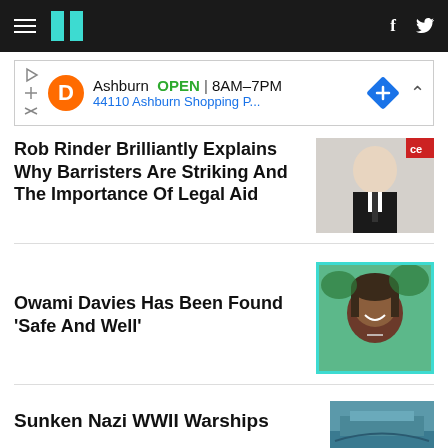HuffPost navigation bar with logo and social icons
[Figure (screenshot): Advertisement banner: Ashburn OPEN 8AM-7PM, 44110 Ashburn Shopping P...]
Rob Rinder Brilliantly Explains Why Barristers Are Striking And The Importance Of Legal Aid
[Figure (photo): Photo of Rob Rinder smiling in a suit]
Owami Davies Has Been Found 'Safe And Well'
[Figure (photo): Photo of Owami Davies smiling, with teal border]
Sunken Nazi WWII Warships